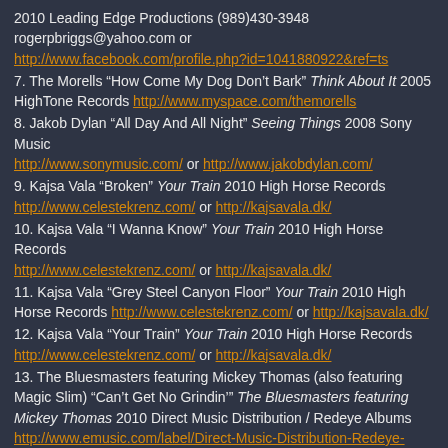2010 Leading Edge Productions (989)430-3948 rogerpbriggs@yahoo.com or http://www.facebook.com/profile.php?id=1041880922&ref=ts
7. The Morells “How Come My Dog Don’t Bark” Think About It 2005 HighTone Records http://www.myspace.com/themorells
8. Jakob Dylan “All Day And All Night” Seeing Things 2008 Sony Music http://www.sonymusic.com/ or http://www.jakobdylan.com/
9. Kajsa Vala “Broken” Your Train 2010 High Horse Records http://www.celestekrenz.com/ or http://kajsavala.dk/
10. Kajsa Vala “I Wanna Know” Your Train 2010 High Horse Records http://www.celestekrenz.com/ or http://kajsavala.dk/
11. Kajsa Vala “Grey Steel Canyon Floor” Your Train 2010 High Horse Records http://www.celestekrenz.com/ or http://kajsavala.dk/
12. Kajsa Vala “Your Train” Your Train 2010 High Horse Records http://www.celestekrenz.com/ or http://kajsavala.dk/
13. The Bluesmasters featuring Mickey Thomas (also featuring Magic Slim) “Can’t Get No Grindin’” The Bluesmasters featuring Mickey Thomas 2010 Direct Music Distribution / Redeye Albums http://www.emusic.com/label/Direct-Music-Distribution-Redeye-MP3-Download/382889.html or http://www.myspace.com/thebluesmasters
14. The Bluesmasters featuring Mickey Thomas “Third Degree” The Bluesmasters featuring Mickey Thomas 2010 Direct Music Distribution / Redeye Albums http://www.myspace.com/thebluesmasters or